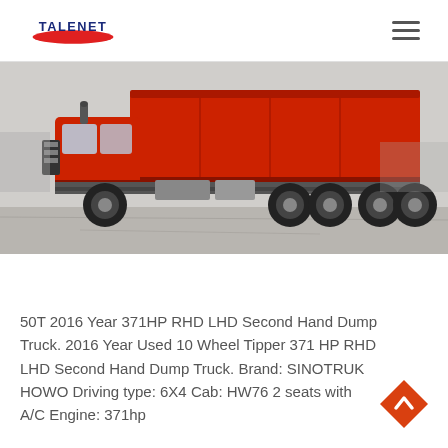TALENET
[Figure (photo): Side view of a red SINOTRUK HOWO dump truck parked on a concrete surface, showing the cab, chassis, and rear tipper body.]
50T 2016 Year 371HP RHD LHD Second Hand Dump Truck. 2016 Year Used 10 Wheel Tipper 371 HP RHD LHD Second Hand Dump Truck. Brand: SINOTRUK HOWO Driving type: 6X4 Cab: HW76 2 seats with A/C Engine: 371hp